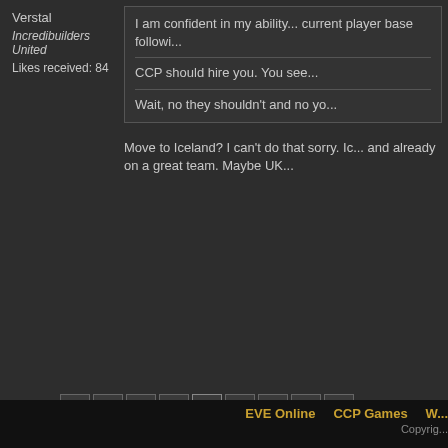Verstal
Incredibuilders United
Likes received: 84
I am confident in my ability... current player base followi...
CCP should hire you. You see...
Wait, no they shouldn't and no yo...
Move to Iceland? I can't do that sorry. Ic... and already on a great team. Maybe UK...
7
8
9
10
11
EVE Online   CCP Games   W...   Copyrig...